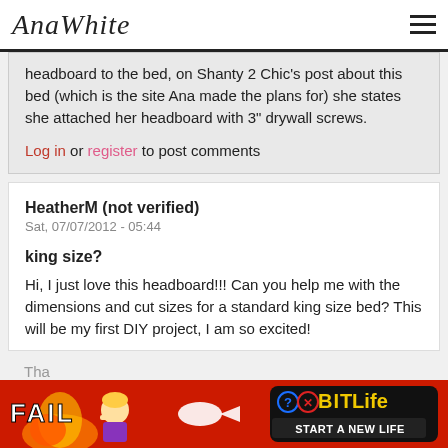AnaWhite
headboard to the bed, on Shanty 2 Chic's post about this bed (which is the site Ana made the plans for) she states she attached her headboard with 3" drywall screws.
Log in or register to post comments
HeatherM (not verified)
Sat, 07/07/2012 - 05:44
king size?
Hi, I just love this headboard!!! Can you help me with the dimensions and cut sizes for a standard king size bed? This will be my first DIY project, I am so excited!
[Figure (other): BitLife advertisement banner with FAIL text, animated character, flames, and 'Start a New Life' tagline]